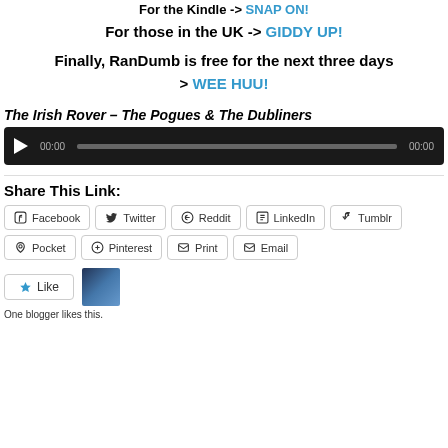For the Kindle -> SNAP ON!
For those in the UK -> GIDDY UP!
Finally, RanDumb is free for the next three days > WEE HUU!
The Irish Rover – The Pogues & The Dubliners
[Figure (other): Audio player widget with play button, time display 00:00, progress bar, and end time 00:00 on dark background]
Share This Link:
Facebook  Twitter  Reddit  LinkedIn  Tumblr  Pocket  Pinterest  Print  Email
Like
One blogger likes this.